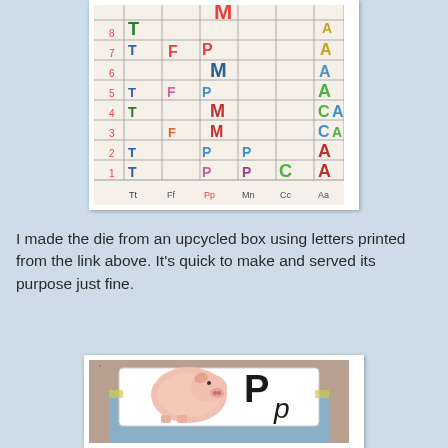[Figure (photo): A colorful letter frequency chart/game board with rows numbered 1-8 and columns labeled Tt, Ff, Pp, Mn, Cc, Aa. Letters are written in various bright colors in the grid cells.]
I made the die from an upcycled box using letters printed from the link above. It's quick to make and served its purpose just fine.
[Figure (photo): A cardboard box die with a card showing the letter 'Pp' and a pig illustration on top, sitting on a granite countertop.]